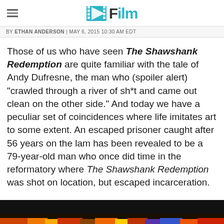/Film
BY ETHAN ANDERSON | MAY 6, 2015 10:30 AM EDT
Those of us who have seen The Shawshank Redemption are quite familiar with the tale of Andy Dufresne, the man who (spoiler alert) "crawled through a river of sh*t and came out clean on the other side." And today we have a peculiar set of coincidences where life imitates art to some extent. An escaped prisoner caught after 56 years on the lam has been revealed to be a 79-year-old man who once did time in the reformatory where The Shawshank Redemption was shot on location, but escaped incarceration.
[Figure (photo): Bottom portion of a dark image, partially visible at the bottom of the page, showing colorful gradients and dark background.]